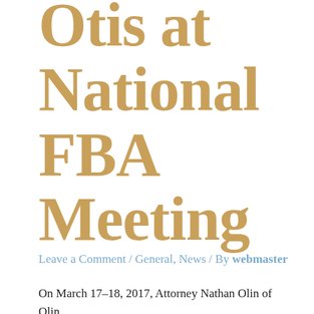Otis at National FBA Meeting
Leave a Comment / General, News / By webmaster
On March 17-18, 2017, Attorney Nathan Olin of Olin